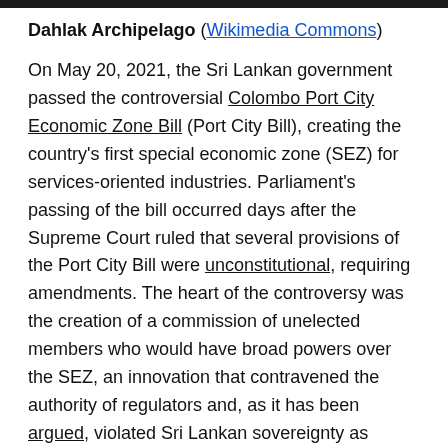Dahlak Archipelago (Wikimedia Commons)
On May 20, 2021, the Sri Lankan government passed the controversial Colombo Port City Economic Zone Bill (Port City Bill), creating the country's first special economic zone (SEZ) for services-oriented industries. Parliament's passing of the bill occurred days after the Supreme Court ruled that several provisions of the Port City Bill were unconstitutional, requiring amendments. The heart of the controversy was the creation of a commission of unelected members who would have broad powers over the SEZ, an innovation that contravened the authority of regulators and, as it has been argued, violated Sri Lankan sovereignty as enshrined in its constitution. More specifically, the SEZ is funded and